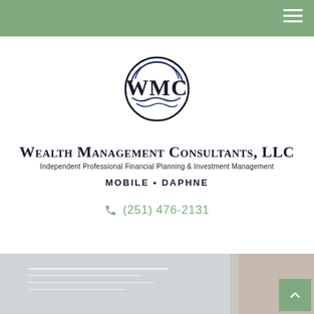Navigation header bar with hamburger menu
[Figure (logo): WMC circular logo with dark navy/black arc circles and wave lines, letters WMC in center]
Wealth Management Consultants, LLC
Independent Professional Financial Planning & Investment Management
MOBILE • DAPHNE
(251) 476-2131
[Figure (photo): Blurred background photo of papers/documents on a desk with a person's hand visible]